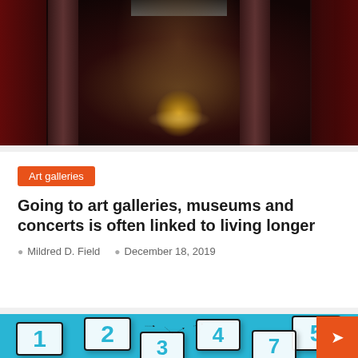[Figure (photo): Interior of an art gallery or museum with dark red walls, classical pillars, atmospheric lighting, and a golden ornament glowing in the center background.]
Art galleries
Going to art galleries, museums and concerts is often linked to living longer
Mildred D. Field   December 18, 2019
[Figure (flowchart): Infographic on a cyan/teal background showing numbered boxes (1 through 7) connected by dashed arrows in a non-linear sequence, representing steps or a process flow. Boxes labeled 1, 2, 3, 4, 5, 7 are visible, with dashed arrow lines connecting them in various directions.]